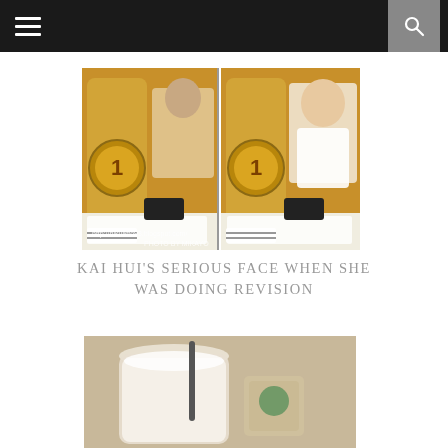Navigation bar with hamburger menu and search icon
[Figure (photo): Side-by-side photo collage showing two large iced drinks with a '1' logo emblem, and a girl doing revision/reading a document in the background. Watermark text: http://hikuatto93.blogspot.com/ PHOTO BY MIKAYO]
KAI HUI'S SERIOUS FACE WHEN SHE WAS DOING REVISION
[Figure (photo): Close-up photo of a milky white drink with a straw in a glass, blurred background]